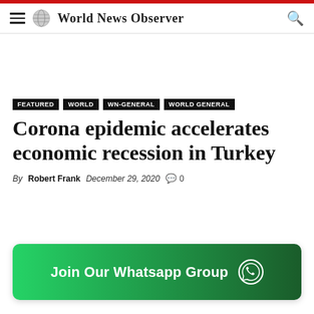World News Observer
FEATURED
WORLD
WN-GENERAL
WORLD GENERAL
Corona epidemic accelerates economic recession in Turkey
By Robert Frank   December 29, 2020   0
[Figure (infographic): Join Our Whatsapp Group banner with WhatsApp logo icon, green gradient background]